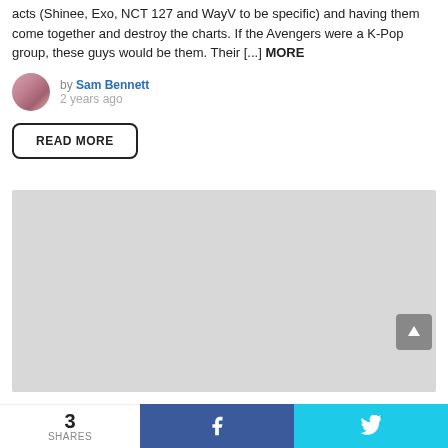acts (Shinee, Exo, NCT 127 and WayV to be specific) and having them come together and destroy the charts. If the Avengers were a K-Pop group, these guys would be them. Their [...] MORE
by Sam Bennett
2 years ago
READ MORE
[Figure (photo): Gray image placeholder rectangle]
3 SHARES  f  🐦